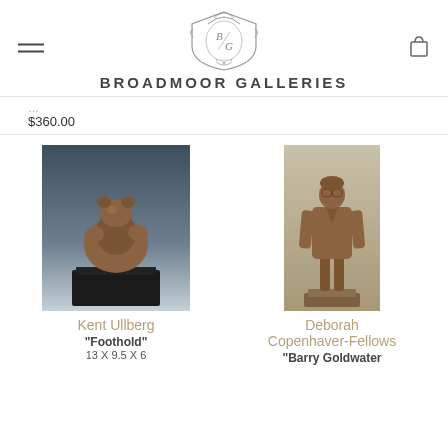Broadmoor Galleries
$360.00
[Figure (photo): Bronze sculpture of a bear on a black pedestal base, titled Foothold by Kent Ullberg]
[Figure (photo): Bronze sculpture of a standing man in a suit, titled Barry Goldwater by Deborah Copenhaver-Fellows]
Kent Ullberg
"Foothold"
13 X 9.5 X 6
Deborah Copenhaver-Fellows
"Barry Goldwater